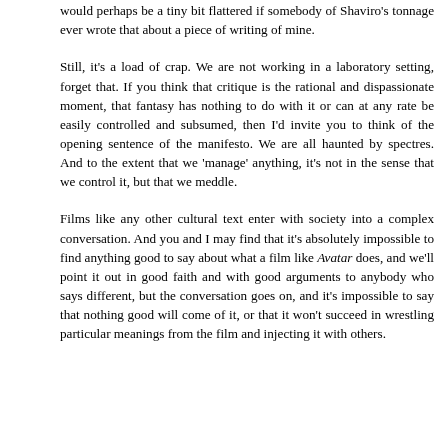exactly immune from thinking of myself in those terms either, and would perhaps be a tiny bit flattered if somebody of Shaviro's tonnage ever wrote that about a piece of writing of mine.
Still, it's a load of crap. We are not working in a laboratory setting, forget that. If you think that critique is the rational and dispassionate moment, that fantasy has nothing to do with it or can at any rate be easily controlled and subsumed, then I'd invite you to think of the opening sentence of the manifesto. We are all haunted by spectres. And to the extent that we 'manage' anything, it's not in the sense that we control it, but that we meddle.
Films like any other cultural text enter with society into a complex conversation. And you and I may find that it's absolutely impossible to find anything good to say about what a film like Avatar does, and we'll point it out in good faith and with good arguments to anybody who says different, but the conversation goes on, and it's impossible to say that nothing good will come of it, or that it won't succeed in wrestling particular meanings from the film and injecting it with others.